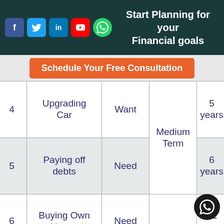Start Planning for your Financial goals
Schedule Your Free Consultation
| # | Goal | Type | Term | Duration |
| --- | --- | --- | --- | --- |
| 4 | Upgrading Car | Want | Medium Term | 5 years |
| 5 | Paying off debts | Need | Medium Term | 6 years |
| 6 | Buying Own House | Need |  | 12 years |
| 7 | Child's Education Fund | Need | Long Term | 15 y... |